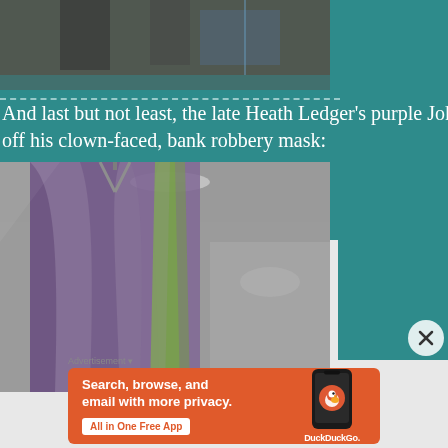[Figure (photo): Partial view of people standing, top portion of image cropped]
And last but not least, the late Heath Ledger's purple Joker costume, complete with the Joker taking off his clown-faced, bank robbery mask:
[Figure (photo): Purple jacket/costume hanging on hangers behind a glass display case, likely Heath Ledger's Joker costume]
Advertisement
[Figure (screenshot): DuckDuckGo advertisement banner: Search, browse, and email with more privacy. All in One Free App. Shows phone with DuckDuckGo logo.]